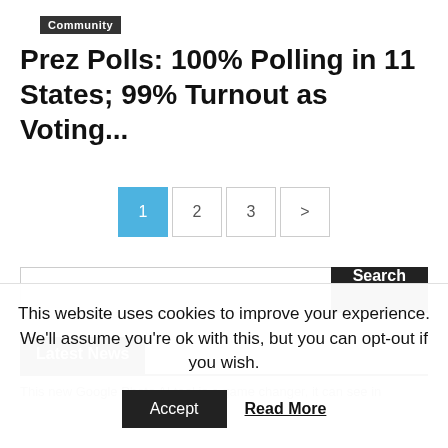Community
Prez Polls: 100% Polling in 11 States; 99% Turnout as Voting...
[Figure (other): Pagination control with buttons: 1 (active, blue), 2, 3, >]
[Figure (other): Search bar with text input and Search button]
Latest News
This new Google Photo AI tool is a game changer, it can see in
This website uses cookies to improve your experience. We'll assume you're ok with this, but you can opt-out if you wish.
Accept   Read More